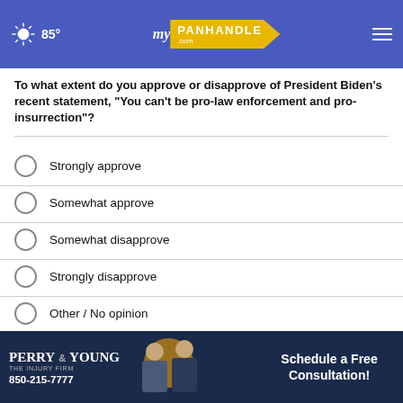myPanhandle.com — 85°
To what extent do you approve or disapprove of President Biden's recent statement, "You can't be pro-law enforcement and pro-insurrection"?
Strongly approve
Somewhat approve
Somewhat disapprove
Strongly disapprove
Other / No opinion
NEXT *
* By clicking "NEXT" you agree to the following: We use cookies to track your survey answers. If you would like to continue with this survey, please read and agree to the CivicScience Privacy Policy and Terms of Service
[Figure (photo): Perry & Young The Injury Firm advertisement banner with two men in suits and text: Schedule a Free Consultation! 850-215-7777]